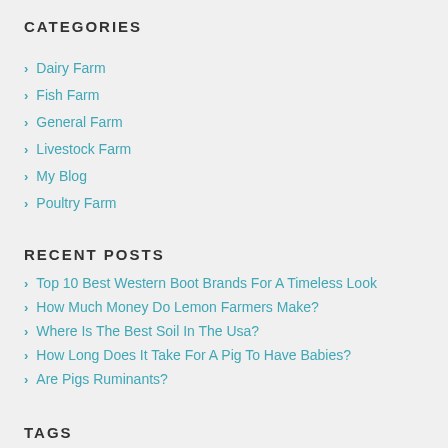CATEGORIES
Dairy Farm
Fish Farm
General Farm
Livestock Farm
My Blog
Poultry Farm
RECENT POSTS
Top 10 Best Western Boot Brands For A Timeless Look
How Much Money Do Lemon Farmers Make?
Where Is The Best Soil In The Usa?
How Long Does It Take For A Pig To Have Babies?
Are Pigs Ruminants?
TAGS